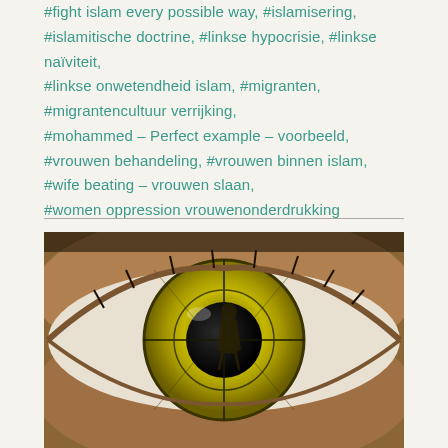#fight islam every possible way, #islamisering, #islamitische doctrine, #linkse hypocrisie, #linkse naïviteit, #linkse onwetendheid islam, #migranten, #migrantencultuur verrijking, #mohammed – Perfect example – voorbeeld, #vrouwen behandeling, #vrouwen binnen islam, #wife beating – vrouwen slaan, #women oppression vrouwenonderdrukking
[Figure (photo): Close-up photograph of a human eye with a green/yellow iris. In the reflection of the iris, a figure of a woman in a dress is visible, appearing to be reflected through a window or crosshair-like overlay.]